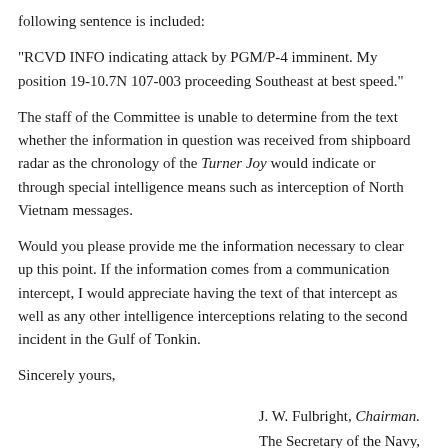following sentence is included:
"RCVD INFO indicating attack by PGM/P-4 imminent. My position 19-10.7N 107-003 proceeding Southeast at best speed."
The staff of the Committee is unable to determine from the text whether the information in question was received from shipboard radar as the chronology of the Turner Joy would indicate or through special intelligence means such as interception of North Vietnam messages.
Would you please provide me the information necessary to clear up this point. If the information comes from a communication intercept, I would appreciate having the text of that intercept as well as any other intelligence interceptions relating to the second incident in the Gulf of Tonkin.
Sincerely yours,
J. W. Fulbright, Chairman.
The Secretary of the Navy, Washington, D.C, January 16, 1968.
Hon. J. W. Fulbright,